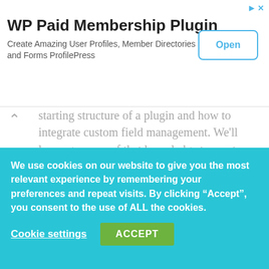[Figure (screenshot): Advertisement banner for WP Paid Membership Plugin with Open button]
WP Paid Membership Plugin
Create Amazing User Profiles, Member Directories and Forms ProfilePress
starting structure of a plugin and how to integrate custom field management. We'll leverage some of that knowledge to create our own Woocommerce plugin.
Checking dependencies
We use cookies on our website to give you the most relevant experience by remembering your preferences and repeat visits. By clicking “Accept”, you consent to the use of ALL the cookies.
Cookie settings    ACCEPT